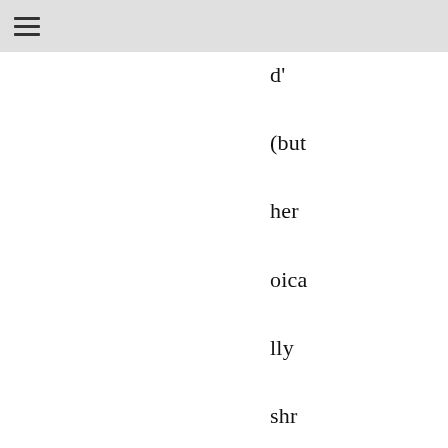d' (but her oically shrugged it off as 'nothing), the black guy